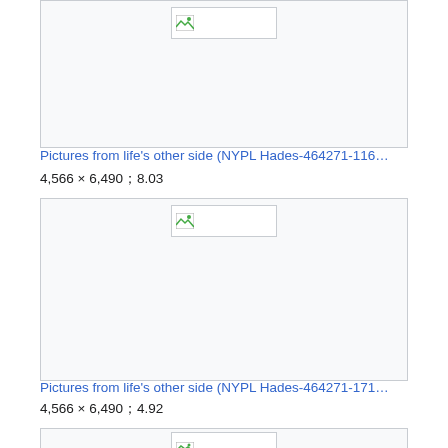[Figure (screenshot): Broken image thumbnail placeholder for NYPL Hades-464271-116 entry]
Pictures from life's other side (NYPL Hades-464271-116…
4,566 × 6,490；8.03
[Figure (screenshot): Broken image thumbnail placeholder for NYPL Hades-464271-171 entry]
Pictures from life's other side (NYPL Hades-464271-171…
4,566 × 6,490；4.92
[Figure (screenshot): Broken image thumbnail placeholder for third entry (partial)]